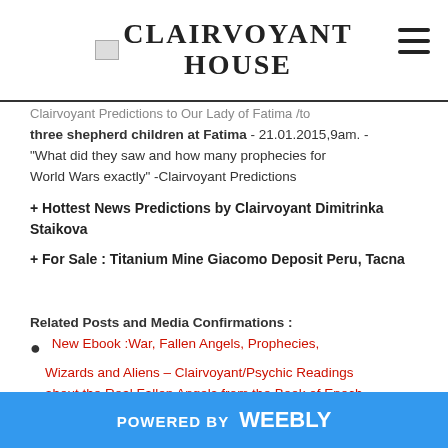CLAIRVOYANT HOUSE
Clairvoyant Predictions to Our Lady of Fatima /to three shepherd children at Fatima - 21.01.2015,9am. - "What did they saw and how many prophecies for World Wars exactly" -Clairvoyant Predictions
+ Hottest News Predictions by Clairvoyant Dimitrinka Staikova
+ For Sale : Titanium Mine Giacomo Deposit Peru, Tacna
Related Posts and Media Confirmations :
New Ebook :War, Fallen Angels, Prophecies, Wizards and Aliens – Clairvoyant/Psychic Readings about the Real Fallen Angels from the Book of Enoch,
POWERED BY weebly